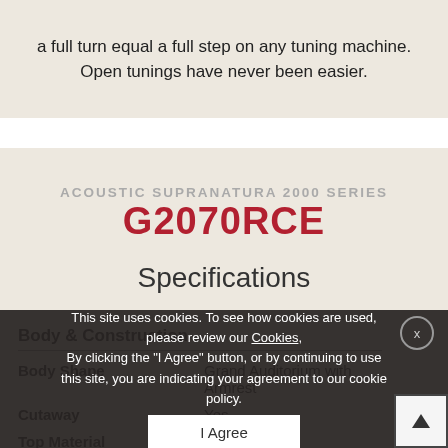a full turn equal a full step on any tuning machine. Open tunings have never been easier.
ACOUSTIC SUPRANATURA 2000 SERIES
G2070RCE
Specifications
Body & Construction
| Property | Value |
| --- | --- |
| Body Shape | Grand Auditorium with Armrest |
| Cutaway | Yes |
| Top Material | Solid Cedar |
| Back Wood | Solid Mahogany |
This site uses cookies. To see how cookies are used, please review our Cookies, By clicking the "I Agree" button, or by continuing to use this site, you are indicating your agreement to our cookie policy.